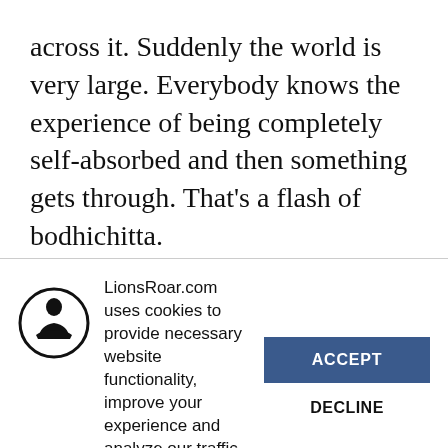across it. Suddenly the world is very large. Everybody knows the experience of being completely self-absorbed and then something gets through. That's a flash of bodhichitta.
That flash, though, feels fragile and fleeting. Meditators describe it often: “I felt like every time
[Figure (logo): Circular icon with silhouette of a meditating Buddha figure in black and white]
LionsRoar.com uses cookies to provide necessary website functionality, improve your experience and analyze our traffic. By using our website, you agree to our Privacy Policy and our cookies usage.
ACCEPT
DECLINE